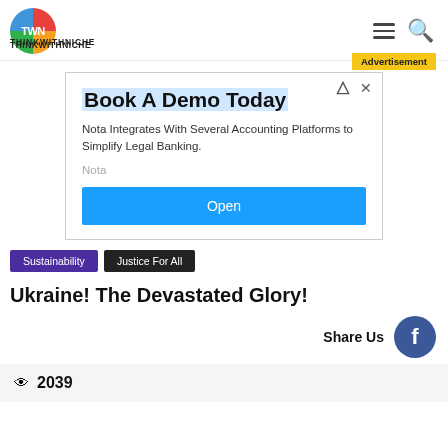THINKWITHNICHE
[Figure (logo): ThinkWithNiche logo - colorful circle with TWN text and THINKWITHNICHE below]
Advertisement
[Figure (screenshot): Advertisement banner: Book A Demo Today - Nota Integrates With Several Accounting Platforms to Simplify Legal Banking. Open button.]
Sustainability
Justice For All
Ukraine! The Devastated Glory!
Share Us
2039